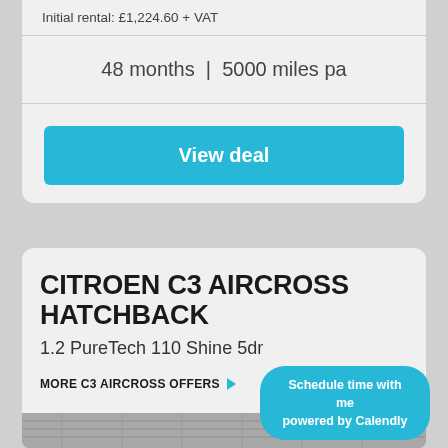Initial rental: £1,224.60 + VAT
48 months  |  5000 miles pa
View deal
CITROEN C3 AIRCROSS HATCHBACK
1.2 PureTech 110 Shine 5dr
MORE C3 AIRCROSS OFFERS ▶
[Figure (photo): Partial view of Citroen C3 Aircross car roof/body]
Schedule time with me
powered by Calendly